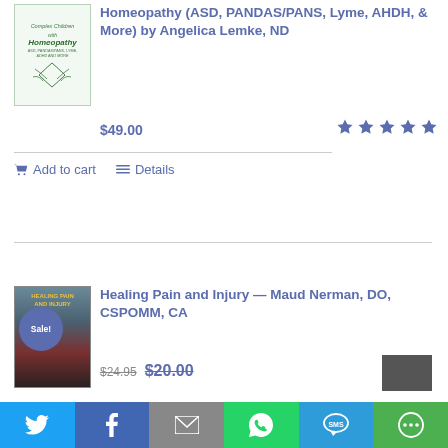[Figure (illustration): Book cover for 'Complex Children with Homeopathy' with green leaf decorations and subtitle mentioning ASD, PANDAS/PANS, LYME, ADHD AND MORE]
Homeopathy (ASD, PANDAS/PANS, Lyme, AHDH, & More) by Angelica Lemke, ND
$49.00
[Figure (other): Five blue star rating icons]
Add to cart
Details
[Figure (illustration): Book cover for 'Healing Pain and Injury' with Sale! badge overlay, dark blue and red tones]
Healing Pain and Injury — Maud Nerman, DO, CSPOMM, CA
$24.95  $20.00
[Figure (infographic): Social sharing bar with Twitter, Facebook, Email, WhatsApp, SMS, and More buttons]